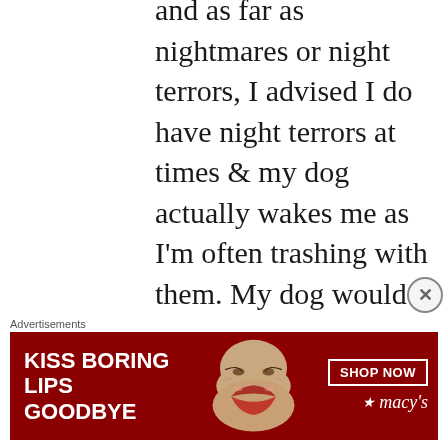and as far as nightmares or night terrors, I advised I do have night terrors at times & my dog actually wakes me as I'm often trashing with them. My dog would not be with me to do so yet they simply gave me an individual room in case I do have night terrors so that I didn't scare or startled others.
[Figure (photo): Advertisement banner for Macy's lip products. Red background with woman's face showing red lips, text 'KISS BORING LIPS GOODBYE' on the left, and 'SHOP NOW' button with Macy's star logo on the right.]